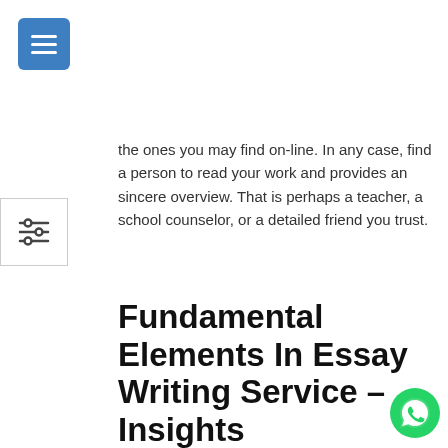[Figure (other): Blue hamburger menu button in top left corner]
[Figure (other): Filter/settings icon button on left side]
the ones you may find on-line. In any case, find a person to read your work and provides an sincere overview. That is perhaps a teacher, a school counselor, or a detailed friend you trust.
Fundamental Elements In Essay Writing Service – Insights
Second, this website is on the market for you at any time. You'll be able to entry it day and night time and get your entire papers done perfectly. Give us your topic, and we'll assign you a a… having all the necessary Cheap Essay Writing Service credentials and expertise in your